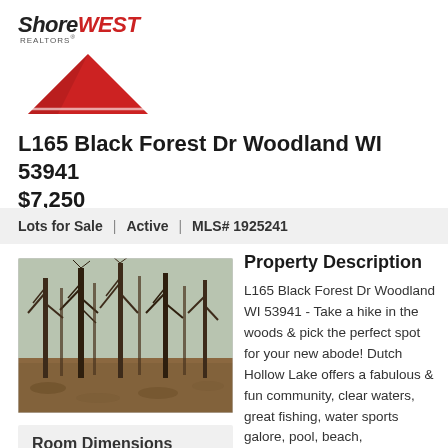[Figure (logo): ShoreWest Realtors logo with red text 'WEST' and serif 'Shore', red triangle graphic below]
L165 Black Forest Dr Woodland WI 53941
$7,250
Lots for Sale  |  Active  |  MLS# 1925241
[Figure (photo): Photo of wooded lot with bare trees and leaf-covered ground, taken in late fall or winter]
Property Description
L165 Black Forest Dr Woodland WI 53941 - Take a hike in the woods & pick the perfect spot for your new abode! Dutch Hollow Lake offers a fabulous & fun community, clear waters, great fishing, water sports galore, pool, beach, clubhouse…what more could
Room Dimensions